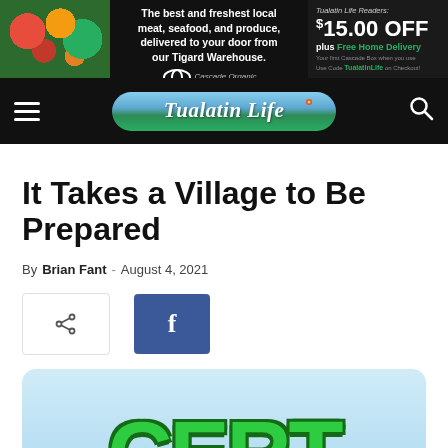[Figure (other): Cascade Organic advertisement banner: local meat, seafood, and produce delivery from Tigard Warehouse, with $15.00 off and free home delivery offer for Tualatin Life readers.]
Tualatin Life
It Takes a Village to Be Prepared
By Brian Fant - August 4, 2021
[Figure (other): Share and Facebook social media buttons]
[Figure (other): CERT logo image showing large green block letters 'CERT' on a light blue rounded background]